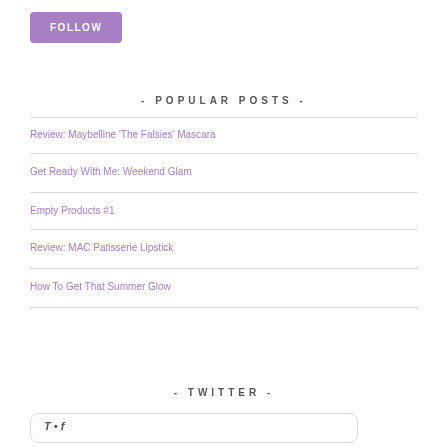FOLLOW
- POPULAR POSTS -
Review: Maybelline 'The Falsies' Mascara
Get Ready With Me: Weekend Glam
Empty Products #1
Review: MAC Patisserie Lipstick
How To Get That Summer Glow
- TWITTER -